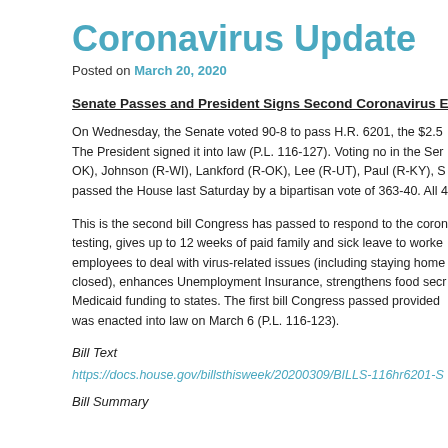Coronavirus Update
Posted on March 20, 2020
Senate Passes and President Signs Second Coronavirus Emer
On Wednesday, the Senate voted 90-8 to pass H.R. 6201, the $2.5 The President signed it into law (P.L. 116-127). Voting no in the Sen OK), Johnson (R-WI), Lankford (R-OK), Lee (R-UT), Paul (R-KY), S passed the House last Saturday by a bipartisan vote of 363-40. All 4
This is the second bill Congress has passed to respond to the coron testing, gives up to 12 weeks of paid family and sick leave to worke employees to deal with virus-related issues (including staying home closed), enhances Unemployment Insurance, strengthens food secr Medicaid funding to states. The first bill Congress passed provided was enacted into law on March 6 (P.L. 116-123).
Bill Text
https://docs.house.gov/billsthisweek/20200309/BILLS-116hr6201-S
Bill Summary